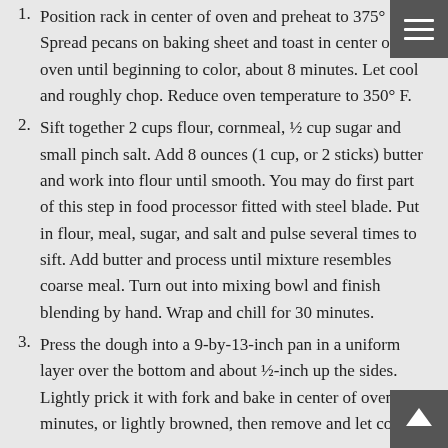Position rack in center of oven and preheat to 375° F. Spread pecans on baking sheet and toast in center of oven until beginning to color, about 8 minutes. Let cool and roughly chop. Reduce oven temperature to 350° F.
Sift together 2 cups flour, cornmeal, ½ cup sugar and small pinch salt. Add 8 ounces (1 cup, or 2 sticks) butter and work into flour until smooth. You may do first part of this step in food processor fitted with steel blade. Put in flour, meal, sugar, and salt and pulse several times to sift. Add butter and process until mixture resembles coarse meal. Turn out into mixing bowl and finish blending by hand. Wrap and chill for 30 minutes.
Press the dough into a 9-by-13-inch pan in a uniform layer over the bottom and about ½-inch up the sides. Lightly prick it with fork and bake in center of oven 20 minutes, or lightly browned, then remove and let cool